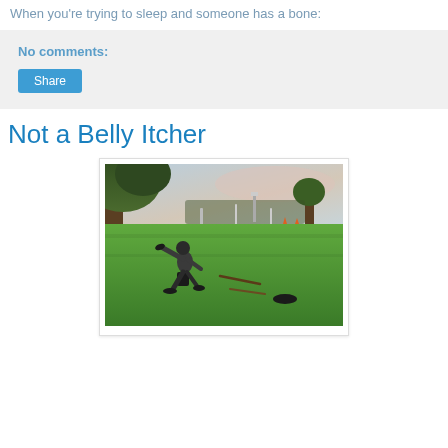When you're trying to sleep and someone has a bone:
No comments:
Not a Belly Itcher
[Figure (photo): Person throwing or swinging something on a green sports field at dusk, with trees on the left and stadium lights in the background. A bucket is near their feet and objects are scattered on the ground.]